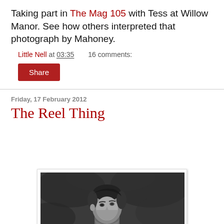Taking part in The Mag 105 with Tess at Willow Manor. See how others interpreted that photograph by Mahoney.
Little Nell at 03:35    16 comments:
Share
Friday, 17 February 2012
The Reel Thing
[Figure (photo): Black and white photograph of a young man with dark hair, facing slightly left, against a blurred dark background.]